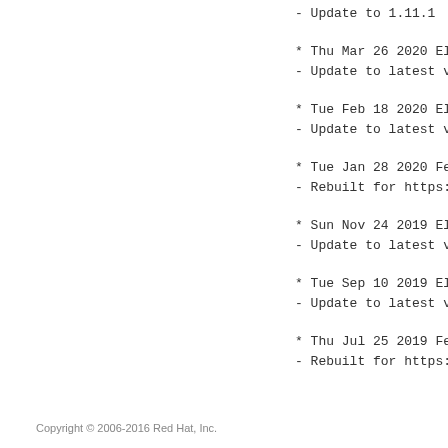- Update to 1.11.1
* Thu Mar 26 2020 Elliott Sales de Andra
- Update to latest version
* Tue Feb 18 2020 Elliott Sales de Andra
- Update to latest version
* Tue Jan 28 2020 Fedora Release Enginee
- Rebuilt for https://fedoraproject.org/
* Sun Nov 24 2019 Elliott Sales de Andra
- Update to latest version
* Tue Sep 10 2019 Elliott Sales de Andra
- Update to latest version
* Thu Jul 25 2019 Fedora Release Enginee
- Rebuilt for https://fedoraproject.org/
Copyright © 2006-2016 Red Hat, Inc.